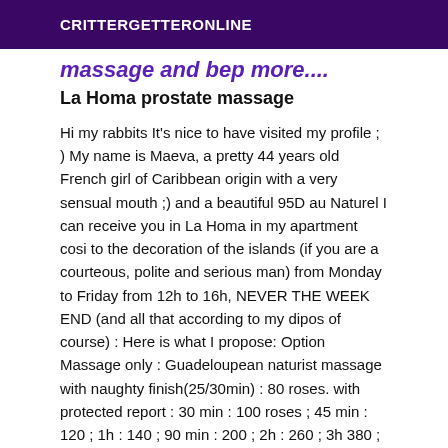CRITTERGETTERONLINE
massage and bep more....
La Homa prostate massage
Hi my rabbits It's nice to have visited my profile ; ) My name is Maeva, a pretty 44 years old French girl of Caribbean origin with a very sensual mouth ;) and a beautiful 95D au Naturel I can receive you in La Homa in my apartment cosi to the decoration of the islands (if you are a courteous, polite and serious man) from Monday to Friday from 12h to 16h, NEVER THE WEEK END (and all that according to my dipos of course) : Here is what I propose: Option Massage only : Guadeloupean naturist massage with naughty finish(25/30min) : 80 roses. with protected report : 30 min : 100 roses ; 45 min : 120 ; 1h : 140 ; 90 min : 200 ; 2h : 260 ; 3h 380 ; (nothing is NEGOCIABLE, we are not at the market : it is possible to add on the spot if you want more time) : Guadeloupean massage Body/body naturist and tantric,